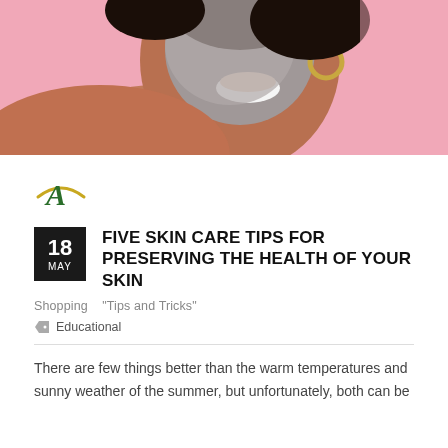[Figure (photo): Woman smiling with grey clay face mask on pink background, shoulders bare, wearing gold hoop earring]
FIVE SKIN CARE TIPS FOR PRESERVING THE HEALTH OF YOUR SKIN
Shopping    "Tips and Tricks"
Educational
There are few things better than the warm temperatures and sunny weather of the summer, but unfortunately, both can be